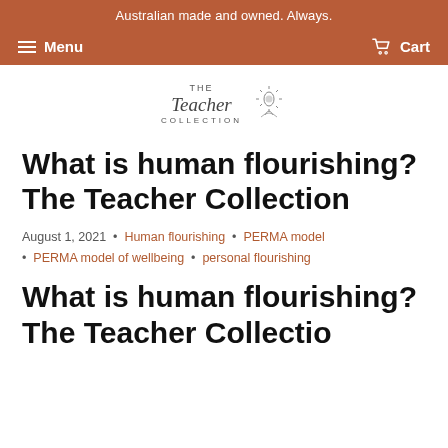Australian made and owned. Always.
Menu  Cart
[Figure (logo): The Teacher Collection logo with illustrated flower/sun graphic]
What is human flourishing? The Teacher Collection
August 1, 2021 • Human flourishing • PERMA model • PERMA model of wellbeing • personal flourishing
What is human flourishing? The Teacher Collection